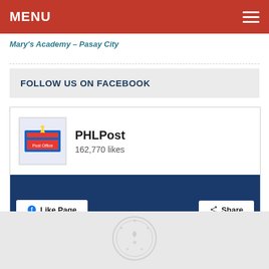MENU
Mary's Academy – Pasay City
FOLLOW US ON FACEBOOK
[Figure (screenshot): Facebook page widget for PHLPost showing 162,770 likes, with Like Page and Share buttons, and a banner showing 'Hatid Malasakit' text over a red and blue background.]